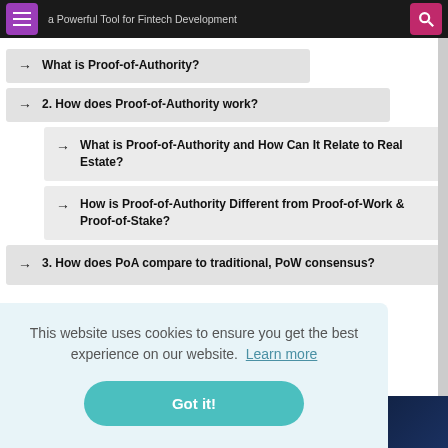[Menu] a Powerful Tool for Fintech Development [Search]
→ What is Proof-of-Authority?
→ 2. How does Proof-of-Authority work?
→ What is Proof-of-Authority and How Can It Relate to Real Estate?
→ How is Proof-of-Authority Different from Proof-of-Work & Proof-of-Stake?
→ 3. How does PoA compare to traditional, PoW consensus?
This website uses cookies to ensure you get the best experience on our website. Learn more
Got it!